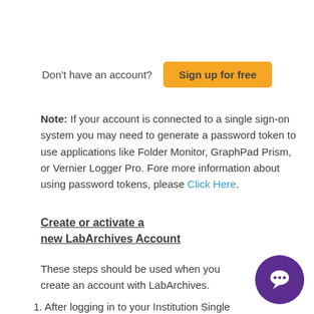Don't have an account?  Sign up for free
Note: If your account is connected to a single sign-on system you may need to generate a password token to use applications like Folder Monitor, GraphPad Prism, or Vernier Logger Pro. Fore more information about using password tokens, please Click Here.
Create or activate a new LabArchives Account
These steps should be used when you create an account with LabArchives.
1. After logging in to your Institution Single